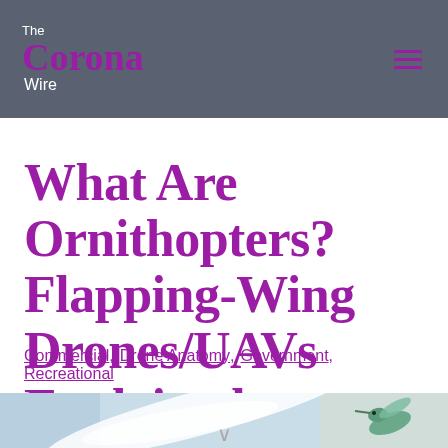The Corona Wire
What Are Ornithopters? Flapping-Wing Drones/UAVs Explained
Commercial, Drone Anatomy, Government, Recreational
[Figure (photo): Horizontal image strip showing a white ornithopter/drone wing against a blue sky on the left, and a hummingbird on the right side]